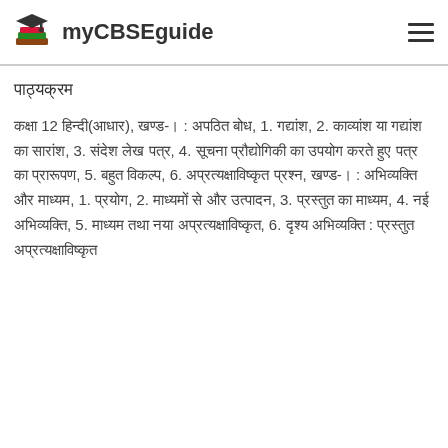myCBSEguide
पाठ्यक्रम
कक्षा 12 हिन्दी(आधार), खण्ड-। : अपठित बोध, 1. गद्यांश, 2. काव्यांश या गद्यांश का सारांश, 3. संदेश लेख पत्र, 4. सूचना प्रौद्योगिकी का उपयोग करते हुए पत्र का प्रारूपण, 5. बहुत विकल्प, 6. अप्रत्यक्षाविष्कृत प्रश्न, खण्ड-। : अभिव्यक्ति और माध्यम, 1. प्रयोग, 2. माध्यमों से और उत्पादन, 3. प्रस्तुत का माध्यम, 4. नई अभिव्यक्ति, 5. माध्यम तथा नया अप्रत्यक्षाविष्कृत, 6. दृश्य अभिव्यक्ति : प्रस्तुत अप्रत्यक्षाविष्कृत